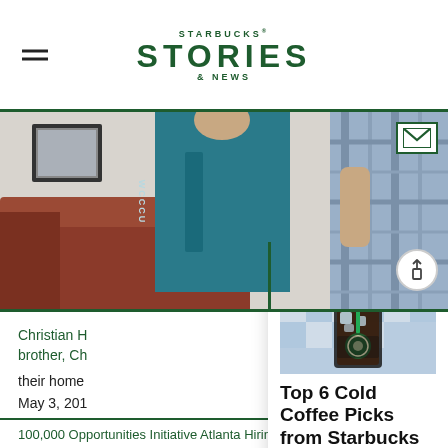STARBUCKS® STORIES & NEWS
[Figure (photo): Hero photo showing two people, one in a teal t-shirt with text, another in a plaid shirt, in a home setting with a couch and stuffed animal]
[Figure (photo): Read More card overlay showing a Starbucks iced coffee cup on a tiled background]
READ MORE
Top 6 Cold Coffee Picks from Starbucks Baristas
Christian H brother, Ch
their home
May 3, 201
100,000 Opportunities Initiative Atlanta Hiring